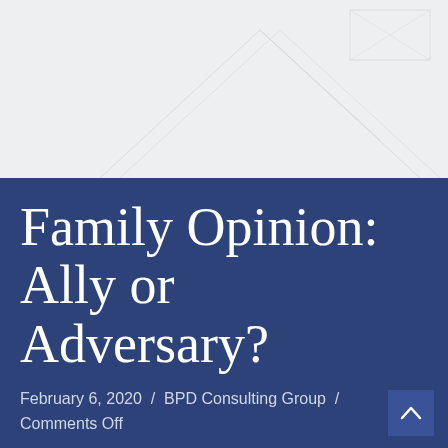[Figure (illustration): Light grey background top section with faint decorative angular line art suggesting a building or abstract shape]
Family Opinion: Ally or Adversary?
February 6, 2020 /  BPD Consulting Group /  Comments Off